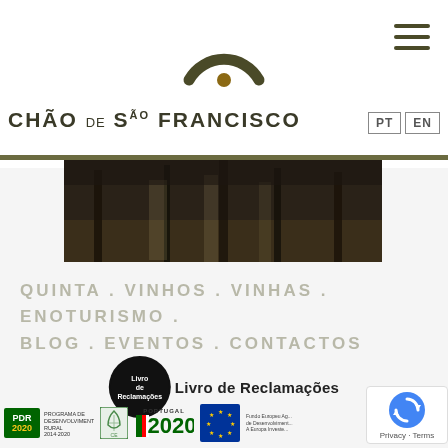[Figure (logo): Chão de São Francisco circular logo — olive/dark green semicircle arch with a small brown dot, centered at top of header]
[Figure (illustration): Hamburger menu icon — three horizontal dark olive lines, top right]
CHÃO DE SÃO FRANCISCO
PT  EN
[Figure (photo): Outdoor photo of vineyard or rural landscape — dark, showing tree trunks and ground]
QUINTA . VINHOS . VINHAS . ENOTURISMO . BLOG . EVENTOS . CONTACTOS
[Figure (logo): Livro de Reclamações — black circle with white text 'Livro de Reclamações']
[Figure (logo): Footer logos: PDR 2020 Programa de Desenvolvimento Rural 2014-2020, green certification logo, Portugal 2020, EU flag, reCAPTCHA badge]